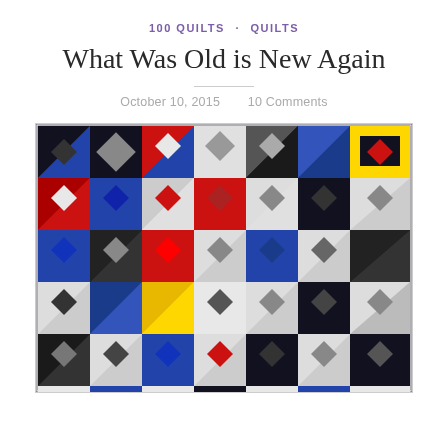100 QUILTS · QUILTS
What Was Old is New Again
October 10, 2015    10 Comments
[Figure (photo): A colorful patchwork quilt with blue, black, white, red, and yellow fabric squares arranged in a geometric star and diamond pattern.]